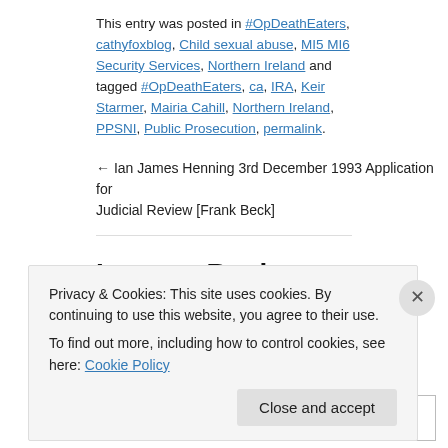This entry was posted in #OpDeathEaters, cathyfoxblog, Child sexual abuse, MI5 MI6 Security Services, Northern Ireland and tagged #OpDeathEaters, ca, IRA, Keir Starmer, Mairia Cahill, Northern Ireland, PPSNI, Public Prosecution, permalink.
← Ian James Henning 3rd December 1993 Application for Judicial Review [Frank Beck]
Leave a Reply
Your email address will not be published. Required fields are m
Comment *
Privacy & Cookies: This site uses cookies. By continuing to use this website, you agree to their use.
To find out more, including how to control cookies, see here: Cookie Policy
Close and accept